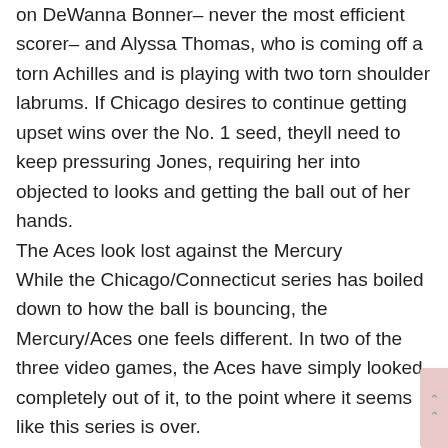on DeWanna Bonner– never the most efficient scorer– and Alyssa Thomas, who is coming off a torn Achilles and is playing with two torn shoulder labrums. If Chicago desires to continue getting upset wins over the No. 1 seed, theyll need to keep pressuring Jones, requiring her into objected to looks and getting the ball out of her hands.
The Aces look lost against the Mercury
While the Chicago/Connecticut series has boiled down to how the ball is bouncing, the Mercury/Aces one feels different. In two of the three video games, the Aces have simply looked completely out of it, to the point where it seems like this series is over.
That doesnt imply it is over, of course. Vegas is a skilled team and has among the 3 best